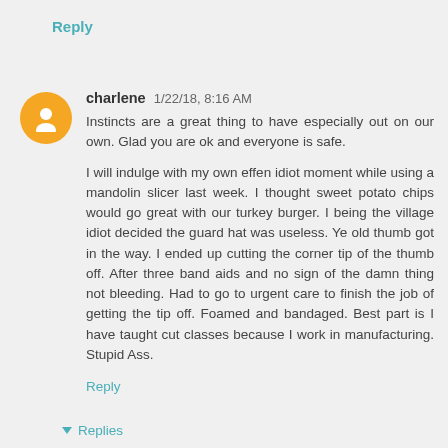Reply
charlene 1/22/18, 8:16 AM
Instincts are a great thing to have especially out on our own. Glad you are ok and everyone is safe.

I will indulge with my own effen idiot moment while using a mandolin slicer last week. I thought sweet potato chips would go great with our turkey burger. I being the village idiot decided the guard hat was useless. Ye old thumb got in the way. I ended up cutting the corner tip of the thumb off. After three band aids and no sign of the damn thing not bleeding. Had to go to urgent care to finish the job of getting the tip off. Foamed and bandaged. Best part is I have taught cut classes because I work in manufacturing. Stupid Ass.
Reply
Replies